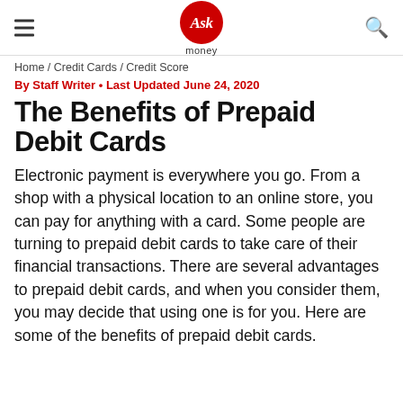Ask money
Home / Credit Cards / Credit Score
By Staff Writer • Last Updated June 24, 2020
The Benefits of Prepaid Debit Cards
Electronic payment is everywhere you go. From a shop with a physical location to an online store, you can pay for anything with a card. Some people are turning to prepaid debit cards to take care of their financial transactions. There are several advantages to prepaid debit cards, and when you consider them, you may decide that using one is for you. Here are some of the benefits of prepaid debit cards.